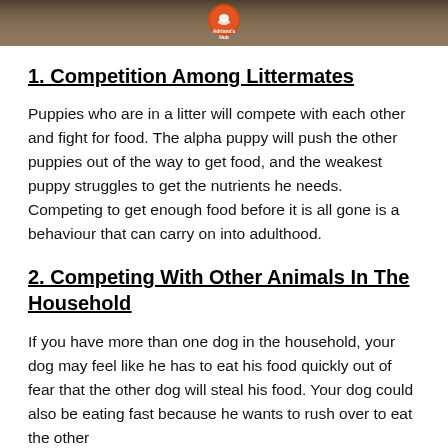[Figure (photo): Top portion of a dog photo with an orange circular logo/badge visible in the upper center area]
1. Competition Among Littermates
Puppies who are in a litter will compete with each other and fight for food. The alpha puppy will push the other puppies out of the way to get food, and the weakest puppy struggles to get the nutrients he needs. Competing to get enough food before it is all gone is a behaviour that can carry on into adulthood.
2. Competing With Other Animals In The Household
If you have more than one dog in the household, your dog may feel like he has to eat his food quickly out of fear that the other dog will steal his food. Your dog could also be eating fast because he wants to rush over to eat the other